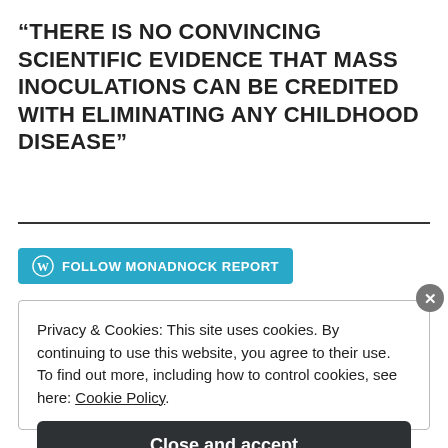“THERE IS NO CONVINCING SCIENTIFIC EVIDENCE THAT MASS INOCULATIONS CAN BE CREDITED WITH ELIMINATING ANY CHILDHOOD DISEASE”
[Figure (other): WordPress Follow button for MONADNOCK REPORT blog]
Privacy & Cookies: This site uses cookies. By continuing to use this website, you agree to their use.
To find out more, including how to control cookies, see here: Cookie Policy
Close and accept